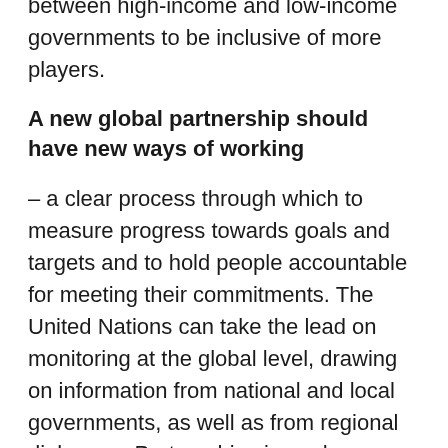between high-income and low-income governments to be inclusive of more players.
A new global partnership should have new ways of working
– a clear process through which to measure progress towards goals and targets and to hold people accountable for meeting their commitments. The United Nations can take the lead on monitoring at the global level, drawing on information from national and local governments, as well as from regional dialogues. Partnerships in each thematic area, at global, national and local levels, can assign responsibilities and accountabilities for putting policies and programmes in place.